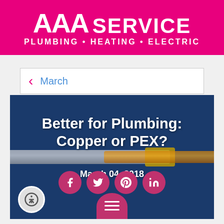[Figure (logo): AAA Service logo with pink background, white text reading AAA SERVICE PLUMBING • HEATING • ELECTRIC]
March
[Figure (photo): Dark blue background with copper and grey pipes, bold white text reading 'Better for Plumbing: Copper or PEX?' and date 'March 04, 2018', social media icons (Facebook, Twitter, Pinterest, LinkedIn), accessibility icon, and menu button]
Better for Plumbing: Copper or PEX?
March 04, 2018